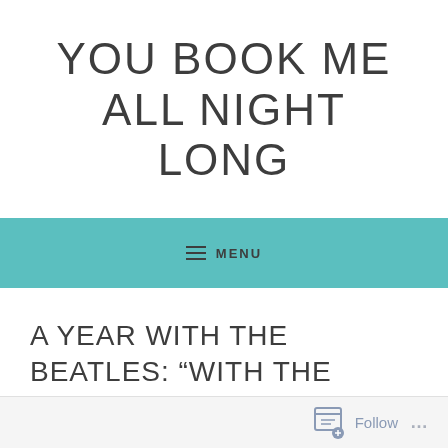YOU BOOK ME ALL NIGHT LONG
MENU
A YEAR WITH THE BEATLES: “WITH THE BEATLES”
Follow ...